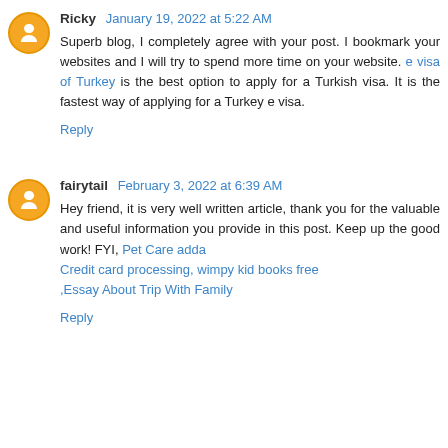Ricky January 19, 2022 at 5:22 AM
Superb blog, I completely agree with your post. I bookmark your websites and I will try to spend more time on your website. e visa of Turkey is the best option to apply for a Turkish visa. It is the fastest way of applying for a Turkey e visa.
Reply
fairytail February 3, 2022 at 6:39 AM
Hey friend, it is very well written article, thank you for the valuable and useful information you provide in this post. Keep up the good work! FYI, Pet Care adda Credit card processing, wimpy kid books free ,Essay About Trip With Family
Reply